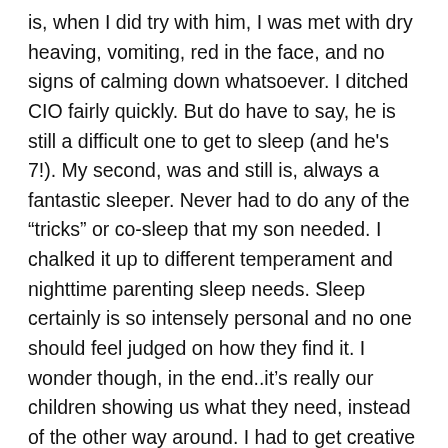is, when I did try with him, I was met with dry heaving, vomiting, red in the face, and no signs of calming down whatsoever. I ditched CIO fairly quickly. But do have to say, he is still a difficult one to get to sleep (and he's 7!). My second, was and still is, always a fantastic sleeper. Never had to do any of the “tricks” or co-sleep that my son needed. I chalked it up to different temperament and nighttime parenting sleep needs. Sleep certainly is so intensely personal and no one should feel judged on how they find it. I wonder though, in the end..it’s really our children showing us what they need, instead of the other way around. I had to get creative with my son and think outside the box when it came time for bed. My daughter? She needed to sleep and that’s